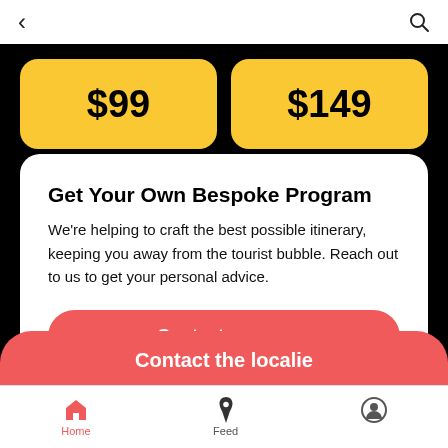[Figure (screenshot): Mobile app navigation bar with back arrow (left) and search icon (right)]
$99
$149
Get Your Own Bespoke Program
We're helping to craft the best possible itinerary, keeping you away from the tourist bubble. Reach out to us to get your personal advice.
Contact us now
Contact the localie
Home   Feed   (profile icon)